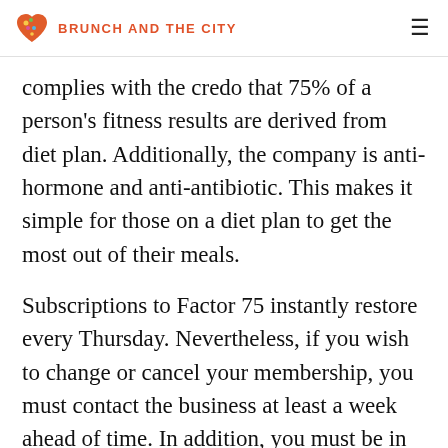BRUNCH AND THE CITY
complies with the credo that 75% of a person's fitness results are derived from diet plan. Additionally, the company is anti-hormone and anti-antibiotic. This makes it simple for those on a diet plan to get the most out of their meals.
Subscriptions to Factor 75 instantly restore every Thursday. Nevertheless, if you wish to change or cancel your membership, you must contact the business at least a week ahead of time. In addition, you must be in